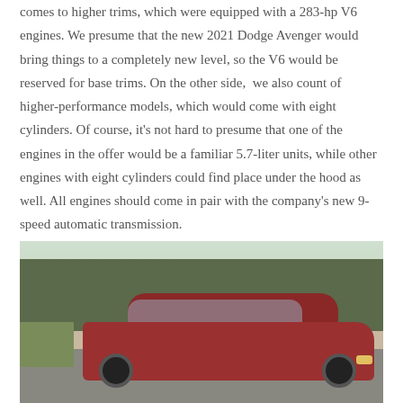comes to higher trims, which were equipped with a 283-hp V6 engines. We presume that the new 2021 Dodge Avenger would bring things to a completely new level, so the V6 would be reserved for base trims. On the other side, we also count of higher-performance models, which would come with eight cylinders. Of course, it's not hard to presume that one of the engines in the offer would be a familiar 5.7-liter units, while other engines with eight cylinders could find place under the hood as well. All engines should come in pair with the company's new 9-speed automatic transmission.
[Figure (photo): A red Dodge Avenger sedan parked outdoors in front of dense green shrubs and trees. The car faces forward-right with its front and driver's side visible. The vehicle is red/maroon in color.]